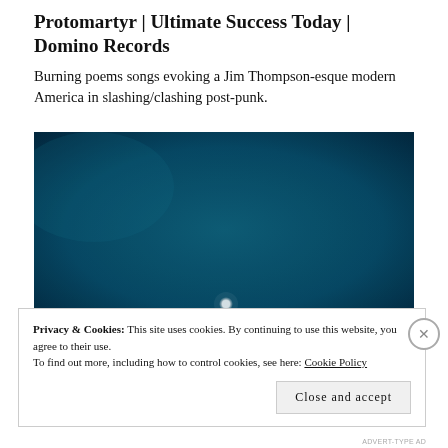Protomartyr | Ultimate Success Today | Domino Records
Burning poems songs evoking a Jim Thompson-esque modern America in slashing/clashing post-punk.
[Figure (photo): A dark teal/blue night sky photograph with a small bright white dot of light near the bottom center, possibly a moon or star. The image has a grainy, vintage photographic quality.]
Privacy & Cookies: This site uses cookies. By continuing to use this website, you agree to their use.
To find out more, including how to control cookies, see here: Cookie Policy
Close and accept